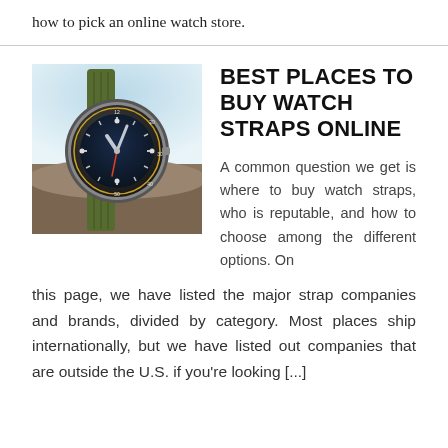how to pick an online watch store.
[Figure (photo): A watch with a dark blue dial and gold bezel markings on a green NATO-style fabric strap, resting on a rocky surface with a blurred sky background.]
BEST PLACES TO BUY WATCH STRAPS ONLINE
A common question we get is where to buy watch straps, who is reputable, and how to choose among the different options. On this page, we have listed the major strap companies and brands, divided by category. Most places ship internationally, but we have listed out companies that are outside the U.S. if you're looking [...]